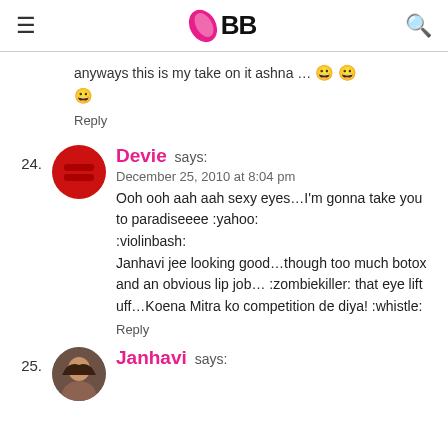IMBB (logo)
anyways this is my take on it ashna … 😀 😀 😀
Reply
24. Devie says:
December 25, 2010 at 8:04 pm
Ooh ooh aah aah sexy eyes…I'm gonna take you to paradiseeee :yahoo:
:violinbash:
Janhavi jee looking good…though too much botox and an obvious lip job… :zombiekiller: that eye lift uff…Koena Mitra ko competition de diya! :whistle:
Reply
25. Janhavi says: